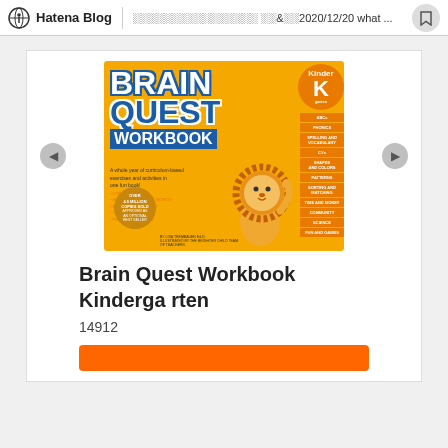Hatena Blog | ???????????????? ?&??2020/12/20 what ...
[Figure (photo): Book cover of Brain Quest Workbook Kindergarten showing a yellow cover with a cartoon lion, title text in blue and white, and orange sidebar tabs listing subjects]
Brain Quest Workbook Kindergarten
14912